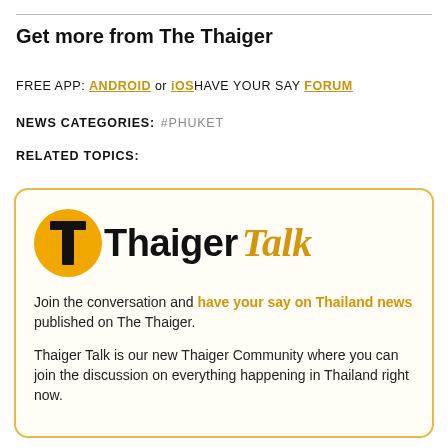Get more from The Thaiger
FREE APP: ANDROID or iOS HAVE YOUR SAY FORUM
NEWS CATEGORIES: #PHUKET
RELATED TOPICS:
[Figure (logo): Thaiger Talk logo: yellow circle with black T, followed by bold black 'Thaiger' and italic gold 'Talk' text]
Join the conversation and have your say on Thailand news published on The Thaiger.
Thaiger Talk is our new Thaiger Community where you can join the discussion on everything happening in Thailand right now.